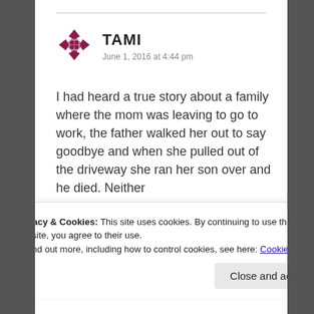[Figure (logo): Decorative avatar/logo icon — a geometric grid cross pattern in dark pink/maroon color]
TAMI
June 1, 2016 at 4:44 pm
I had heard a true story about a family where the mom was leaving to go to work, the father walked her out to say goodbye and when she pulled out of the driveway she ran her son over and he died. Neither
Privacy & Cookies: This site uses cookies. By continuing to use this website, you agree to their use.
To find out more, including how to control cookies, see here: Cookie Policy
Close and accept